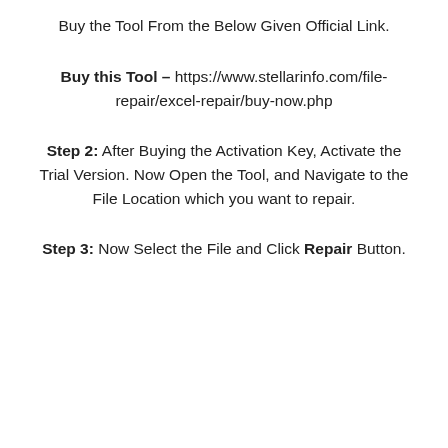Buy the Tool From the Below Given Official Link.
Buy this Tool – https://www.stellarinfo.com/file-repair/excel-repair/buy-now.php
Step 2: After Buying the Activation Key, Activate the Trial Version. Now Open the Tool, and Navigate to the File Location which you want to repair.
Step 3: Now Select the File and Click Repair Button.